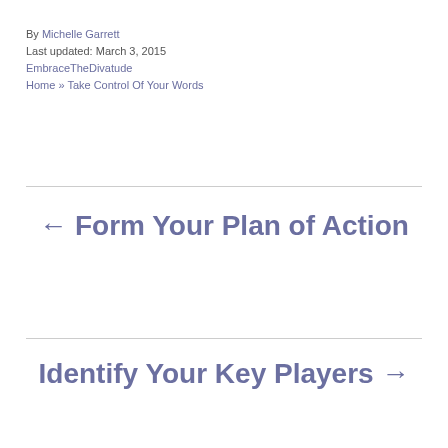By Michelle Garrett
Last updated: March 3, 2015
EmbraceTheDivatude
Home » Take Control Of Your Words
← Form Your Plan of Action
Identify Your Key Players →